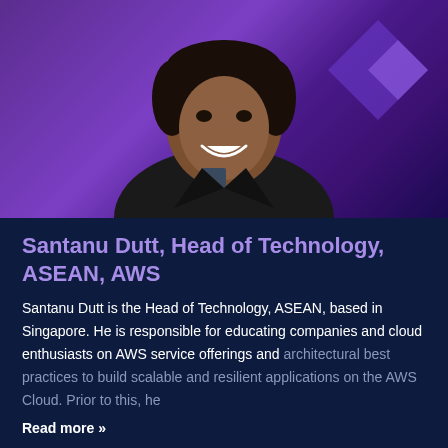[Figure (photo): Headshot of Santanu Dutt, a man in a black blazer smiling, against a purple gradient background with geometric diamond shapes]
Santanu Dutt, Head of Technology, ASEAN, AWS
Santanu Dutt is the Head of Technology, ASEAN, based in Singapore. He is responsible for educating companies and cloud enthusiasts on AWS service offerings and architectural best practices to build scalable and resilient applications on the AWS Cloud. Prior to this, he
Read more »